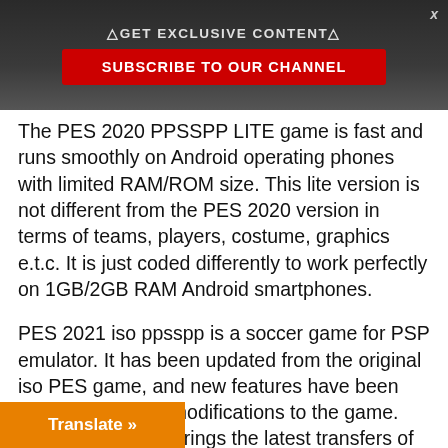△GET EXCLUSIVE CONTENT△
SUBSCRIBE TO OUR CHANNEL
The PES 2020 PPSSPP LITE game is fast and runs smoothly on Android operating phones with limited RAM/ROM size. This lite version is not different from the PES 2020 version in terms of teams, players, costume, graphics e.t.c. It is just coded differently to work perfectly on 1GB/2GB RAM Android smartphones.
PES 2021 iso ppsspp is a soccer game for PSP emulator. It has been updated from the original iso PES game, and new features have been added with many modifications to the game. Pes 2021 iso psp brings the latest transfers of players, crews, adding new stadiums and ball, better graphics, faces and hairstyle, ps4 camera and normal camera. If you are a fan then I got you covered.
Translate »